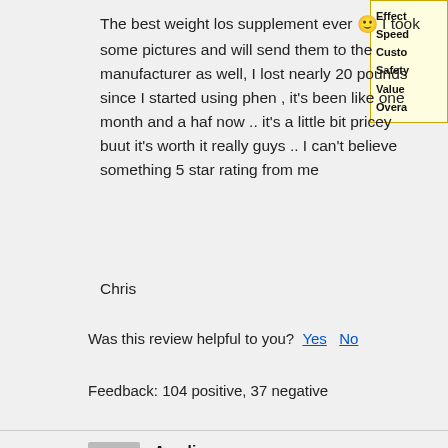The best weight los supplement ever 🙂 I took some pictures and will send them to the manufacturer as well, I lost nearly 20 pounds since I started using phen , it's been like one month and a haf now .. it's a little bit pricey buut it's worth it really guys .. I can't believe something 5 star rating from me
Chris
Was this review helpful to you? Yes   No
Feedback: 104 positive, 37 negative
[Figure (other): Sidebar panel with yellow border showing partially visible labels: Effect, Speed, Custo, Safety, Value, Overa]
Amelie says: Link to this review